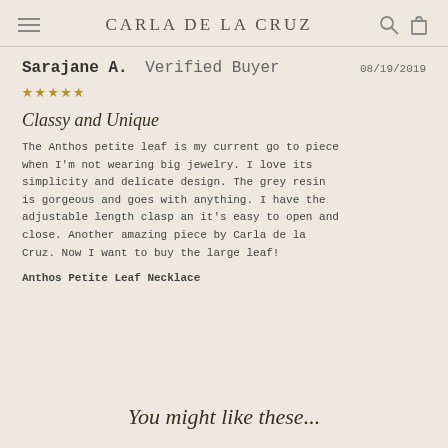CARLA DE LA CRUZ
Sarajane A.  Verified Buyer  08/19/2019  ★★★★★
Classy and Unique
The Anthos petite leaf is my current go to piece when I'm not wearing big jewelry. I love its simplicity and delicate design. The grey resin is gorgeous and goes with anything. I have the adjustable length clasp an it's easy to open and close. Another amazing piece by Carla de la Cruz. Now I want to buy the large leaf!
Anthos Petite Leaf Necklace
You might like these...